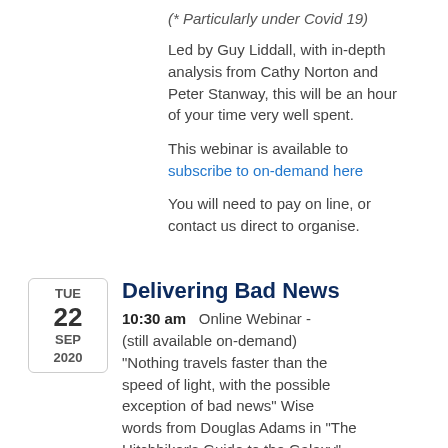(* Particularly under Covid 19)
Led by Guy Liddall, with in-depth analysis from Cathy Norton and Peter Stanway, this will be an hour of your time very well spent.
This webinar is available to
subscribe to on-demand here
You will need to pay on line, or contact us direct to organise.
Delivering Bad News
10:30 am   Online Webinar - (still available on-demand) "Nothing travels faster than the speed of light, with the possible exception of bad news" Wise words from Douglas Adams in "The Hitchhiker's Guide to the Galaxy"